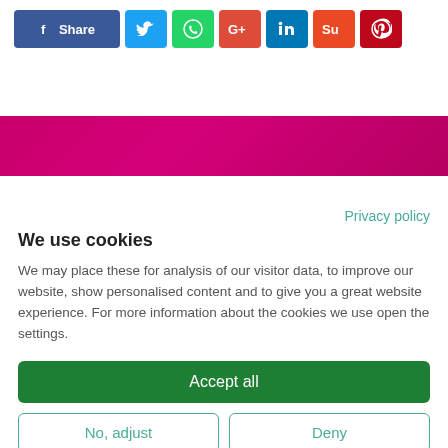[Figure (infographic): Social media share buttons: Facebook Share, Twitter, WhatsApp, Google+, LinkedIn, StumbleUpon, Pinterest]
[Figure (illustration): Magenta/pink horizontal band background decoration]
Privacy policy
We use cookies
We may place these for analysis of our visitor data, to improve our website, show personalised content and to give you a great website experience. For more information about the cookies we use open the settings.
Accept all
No, adjust
Deny